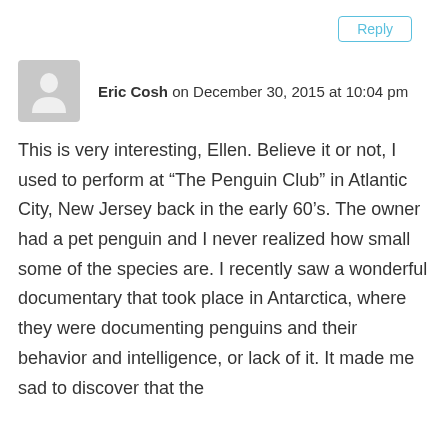Reply
[Figure (illustration): Gray avatar placeholder with a person silhouette icon]
Eric Cosh on December 30, 2015 at 10:04 pm
This is very interesting, Ellen. Believe it or not, I used to perform at “The Penguin Club” in Atlantic City, New Jersey back in the early 60’s. The owner had a pet penguin and I never realized how small some of the species are. I recently saw a wonderful documentary that took place in Antarctica, where they were documenting penguins and their behavior and intelligence, or lack of it. It made me sad to discover that the